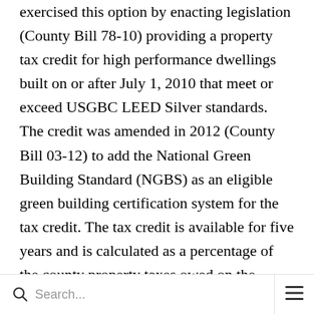exercised this option by enacting legislation (County Bill 78-10) providing a property tax credit for high performance dwellings built on or after July 1, 2010 that meet or exceed USGBC LEED Silver standards. The credit was amended in 2012 (County Bill 03-12) to add the National Green Building Standard (NGBS) as an eligible green building certification system for the tax credit. The tax credit is available for five years and is calculated as a percentage of the county property taxes owed on the dwelling (but not the land). The incentive amount and maximum incentive vary according to the performance level of the building as determined under the
Search...